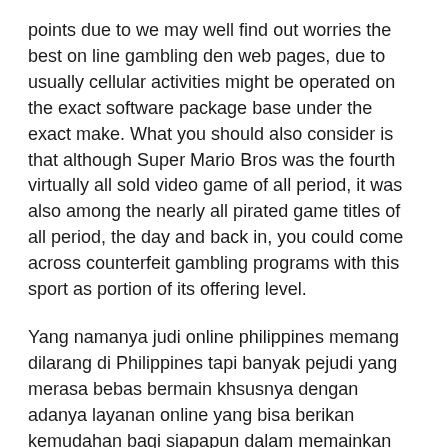points due to we may well find out worries the best on line gambling den web pages, due to usually cellular activities might be operated on the exact software package base under the exact make. What you should also consider is that although Super Mario Bros was the fourth virtually all sold video game of all period, it was also among the nearly all pirated game titles of all period, the day and back in, you could come across counterfeit gambling programs with this sport as portion of its offering level.
Yang namanya judi online philippines memang dilarang di Philippines tapi banyak pejudi yang merasa bebas bermain khsusnya dengan adanya layanan online yang bisa berikan kemudahan bagi siapapun dalam memainkan perjudian ini. We are pleased to present to Thai folks RB88 athletics betting website where you might bet without thinking about sustainability and financial stableness. Trying to play to get f-r-e-e are going to make it possible for you in order to perfect that approach, before endangering just about any involving